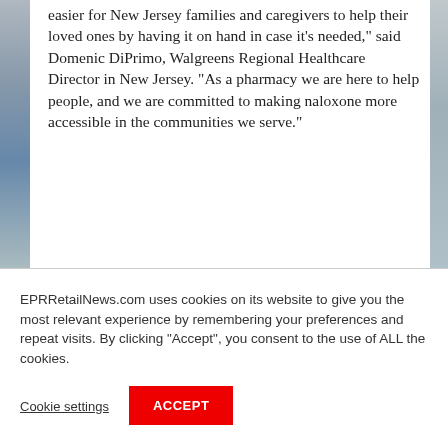[Figure (photo): Partial photo visible on the left side of the page, showing shelves or pharmacy-related imagery with blue and green tones.]
easier for New Jersey families and caregivers to help their loved ones by having it on hand in case it’s needed,” said Domenic DiPrimo, Walgreens Regional Healthcare Director in New Jersey. “As a pharmacy we are here to help people, and we are committed to making naloxone more accessible in the communities we serve.”
EPRRetailNews.com uses cookies on its website to give you the most relevant experience by remembering your preferences and repeat visits. By clicking “Accept”, you consent to the use of ALL the cookies.
Cookie settings
ACCEPT